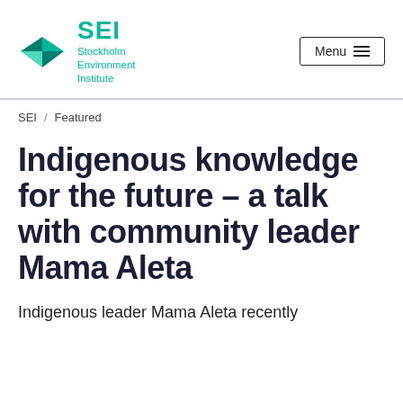SEI Stockholm Environment Institute | Menu
SEI / Featured
Indigenous knowledge for the future – a talk with community leader Mama Aleta
Indigenous leader Mama Aleta recently